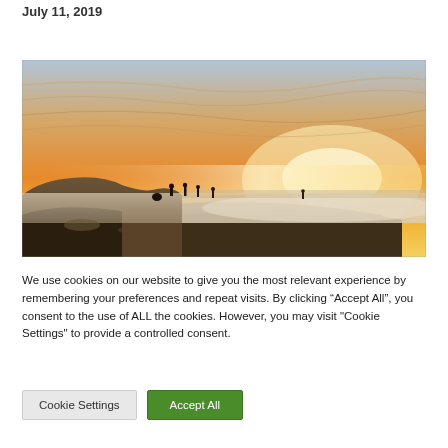July 11, 2019
[Figure (photo): Coastal sunset panorama showing people standing on rocky cliffs overlooking the ocean, with a vivid orange and yellow sky and low clouds or mist over the water.]
We use cookies on our website to give you the most relevant experience by remembering your preferences and repeat visits. By clicking “Accept All”, you consent to the use of ALL the cookies. However, you may visit "Cookie Settings" to provide a controlled consent.
Cookie Settings   Accept All